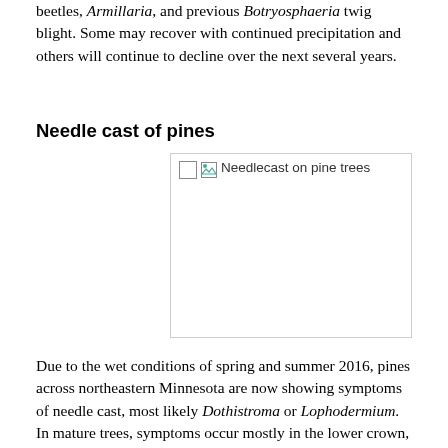beetles, Armillaria, and previous Botryosphaeria twig blight. Some may recover with continued precipitation and others will continue to decline over the next several years.
Needle cast of pines
[Figure (photo): Needlecast on pine trees — image placeholder with broken image icon and alt text]
Due to the wet conditions of spring and summer 2016, pines across northeastern Minnesota are now showing symptoms of needle cast, most likely Dothistroma or Lophodermium. In mature trees, symptoms occur mostly in the lower crown, where accumulated moisture